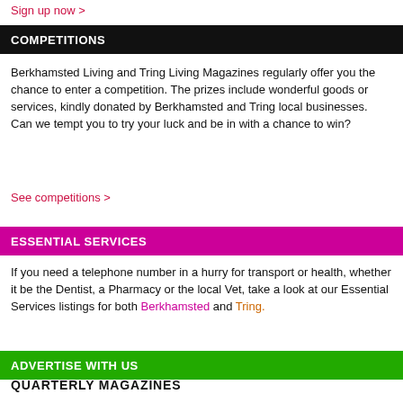Sign up now >
COMPETITIONS
Berkhamsted Living and Tring Living Magazines regularly offer you the chance to enter a competition. The prizes include wonderful goods or services, kindly donated by Berkhamsted and Tring local businesses. Can we tempt you to try your luck and be in with a chance to win?
See competitions >
ESSENTIAL SERVICES
If you need a telephone number in a hurry for transport or health, whether it be the Dentist, a Pharmacy or the local Vet, take a look at our Essential Services listings for both Berkhamsted and Tring.
ADVERTISE WITH US
QUARTERLY MAGAZINES